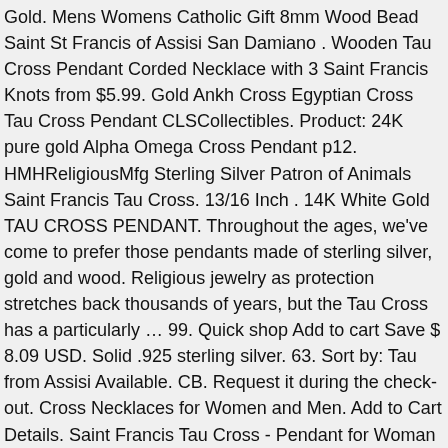Gold. Mens Womens Catholic Gift 8mm Wood Bead Saint St Francis of Assisi San Damiano . Wooden Tau Cross Pendant Corded Necklace with 3 Saint Francis Knots from $5.99. Gold Ankh Cross Egyptian Cross Tau Cross Pendant CLSCollectibles. Product: 24K pure gold Alpha Omega Cross Pendant p12. HMHReligiousMfg Sterling Silver Patron of Animals Saint Francis Tau Cross. 13/16 Inch . 14K White Gold TAU CROSS PENDANT. Throughout the ages, we've come to prefer those pendants made of sterling silver, gold and wood. Religious jewelry as protection stretches back thousands of years, but the Tau Cross has a particularly … 99. Quick shop Add to cart Save $ 8.09 USD. Solid .925 sterling silver. 63. Sort by: Tau from Assisi Available. CB. Request it during the check-out. Cross Necklaces for Women and Men. Add to Cart Details. Saint Francis Tau Cross - Pendant for Woman White Gold 18k This jewel is created and produced entirely in Italy. 3/4 inch Tau bracelet charm or pendant made in Italy. Prime Cart. $299.95 - Over 1/2 Inch x 3/4 inch in 14K White Gold Currency Converter: Size Chart (mm/inch)